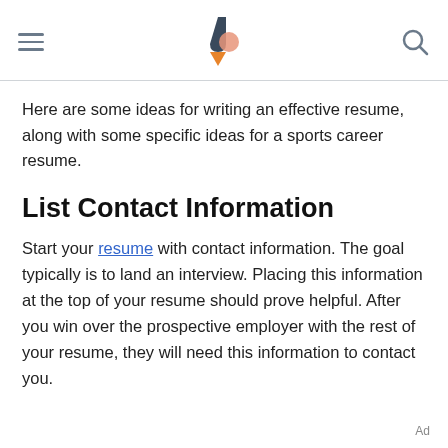[navigation header with hamburger menu, logo, and search icon]
Here are some ideas for writing an effective resume, along with some specific ideas for a sports career resume.
List Contact Information
Start your resume with contact information. The goal typically is to land an interview. Placing this information at the top of your resume should prove helpful. After you win over the prospective employer with the rest of your resume, they will need this information to contact you.
Ad